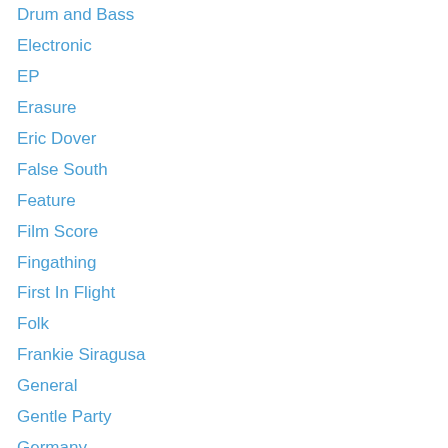Drum and Bass
Electronic
EP
Erasure
Eric Dover
False South
Feature
Film Score
Fingathing
First In Flight
Folk
Frankie Siragusa
General
Gentle Party
Germany
Glasgow
Goth
Graeme James
Gravedigger
Grow